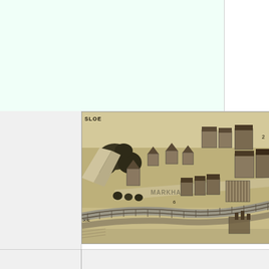[Figure (map): Historical bird's-eye view map showing D. R. Wing & Co. in 1887. The map depicts an isometric/perspective view of a neighborhood with streets (including 'Markham'), buildings, houses, trees, and a curved railway or river in the lower portion. The map is sepia/brown toned in the style of late 19th century lithographic maps.]
D. R. Wing & Co. in 1887